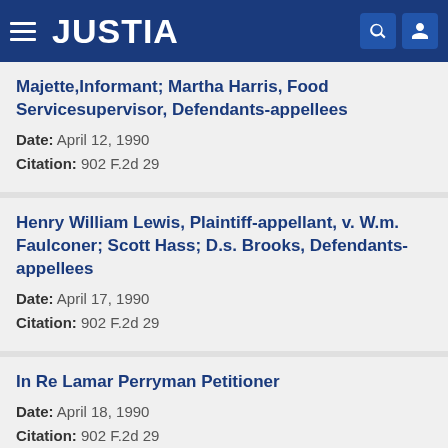JUSTIA
Majette, Informant; Martha Harris, Food Servicesupervisor, Defendants-appellees
Date: April 12, 1990
Citation: 902 F.2d 29
Henry William Lewis, Plaintiff-appellant, v. W.m. Faulconer; Scott Hass; D.s. Brooks, Defendants-appellees
Date: April 17, 1990
Citation: 902 F.2d 29
In Re Lamar Perryman Petitioner
Date: April 18, 1990
Citation: 902 F.2d 29